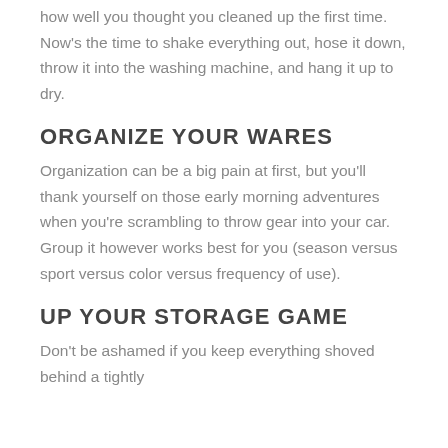how well you thought you cleaned up the first time. Now's the time to shake everything out, hose it down, throw it into the washing machine, and hang it up to dry.
ORGANIZE YOUR WARES
Organization can be a big pain at first, but you'll thank yourself on those early morning adventures when you're scrambling to throw gear into your car. Group it however works best for you (season versus sport versus color versus frequency of use).
UP YOUR STORAGE GAME
Don't be ashamed if you keep everything shoved behind a tightly